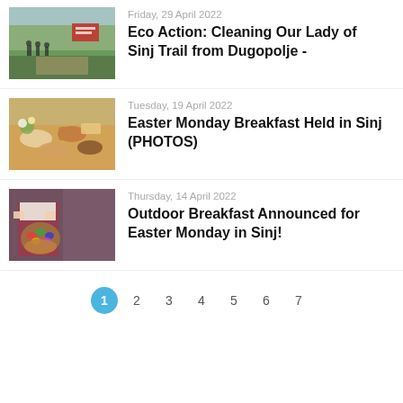[Figure (photo): People walking on a trail in an open field, with a red banner/sign visible]
Friday, 29 April 2022
Eco Action: Cleaning Our Lady of Sinj Trail from Dugopolje -
[Figure (photo): Easter food spread on a table with flowers and traditional Easter dishes]
Tuesday, 19 April 2022
Easter Monday Breakfast Held in Sinj (PHOTOS)
[Figure (photo): Person in traditional clothing holding a basket with Easter eggs and bread]
Thursday, 14 April 2022
Outdoor Breakfast Announced for Easter Monday in Sinj!